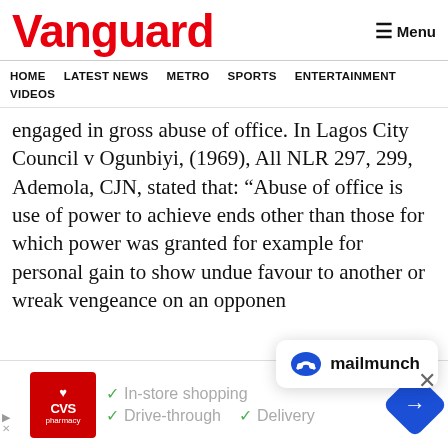Vanguard
Menu
HOME   LATEST NEWS   METRO   SPORTS   ENTERTAINMENT   VIDEOS
engaged in gross abuse of office. In Lagos City Council v Ogunbiyi, (1969), All NLR 297, 299, Ademola, CJN, stated that: “Abuse of office is use of power to achieve ends other than those for which power was granted for example for personal gain to show undue favour to another or wreak vengeance on an opponen
[Figure (logo): Mailmunch popup overlay with blue M logo and text 'mailmunch']
[Figure (logo): CVS Pharmacy advertisement banner with In-store shopping, Drive-through, and Delivery options]